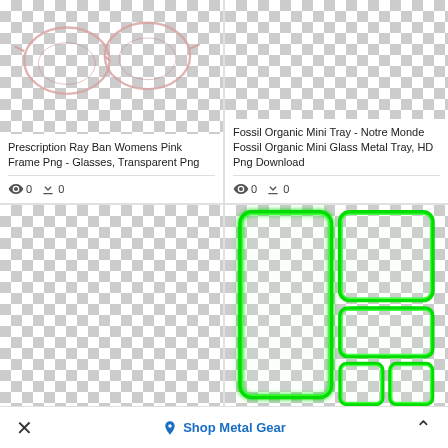[Figure (photo): Prescription Ray Ban Womens Pink Frame glasses sketch on transparent/checkered background]
Prescription Ray Ban Womens Pink Frame Png - Glasses, Transparent Png
0  0
[Figure (photo): Fossil Organic Mini Tray on transparent/checkered background]
Fossil Organic Mini Tray - Notre Monde Fossil Organic Mini Glass Metal Tray, HD Png Download
0  0
[Figure (photo): Empty card with white/checkered background]
[Figure (photo): Green glowing border frames set on transparent background]
Shop Metal Gear